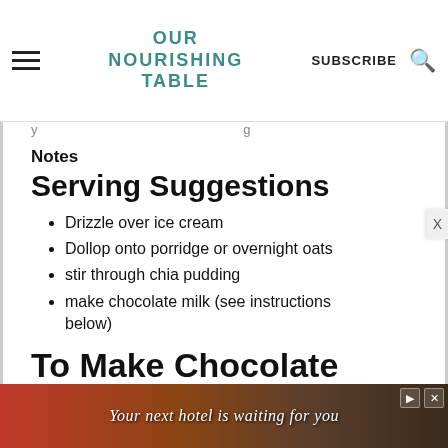OUR NOURISHING TABLE | SUBSCRIBE
Notes
Serving Suggestions
Drizzle over ice cream
Dollop onto porridge or overnight oats
stir through chia pudding
make chocolate milk (see instructions below)
To Make Chocolate Milk
Add 1 tablespoon and 1 cup of milk of choice to a jar with a lid. Place lid on and
[Figure (screenshot): Advertisement banner: Your next hotel is waiting for you]